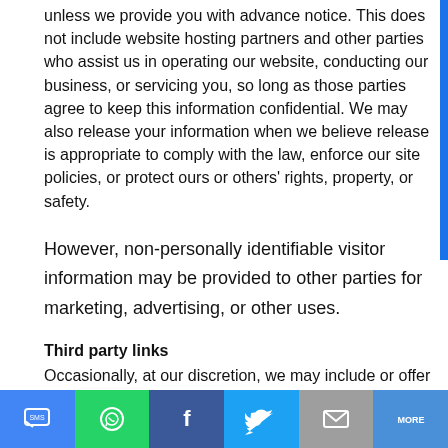unless we provide you with advance notice. This does not include website hosting partners and other parties who assist us in operating our website, conducting our business, or servicing you, so long as those parties agree to keep this information confidential. We may also release your information when we believe release is appropriate to comply with the law, enforce our site policies, or protect ours or others' rights, property, or safety.
However, non-personally identifiable visitor information may be provided to other parties for marketing, advertising, or other uses.
Third party links
Occasionally, at our discretion, we may include or offer third party products or services on our website. These third p...